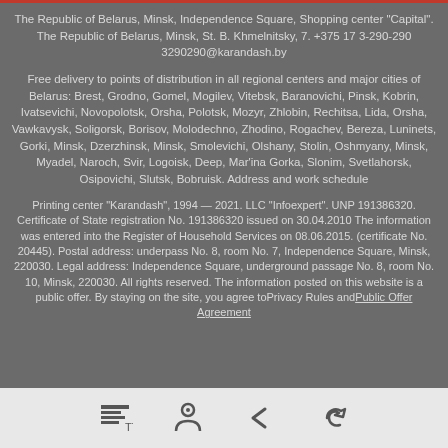The Republic of Belarus, Minsk, Independence Square, Shopping center "Capital". The Republic of Belarus, Minsk, St. B. Khmelnitsky, 7. +375 17 3-290-290 3290290@karandash.by
Free delivery to points of distribution in all regional centers and major cities of Belarus: Brest, Grodno, Gomel, Mogilev, Vitebsk, Baranovichi, Pinsk, Kobrin, Ivatsevichi, Novopolotsk, Orsha, Polotsk, Mozyr, Zhlobin, Rechitsa, Lida, Orsha, Vawkavysk, Soligorsk, Borisov, Molodechno, Zhodino, Rogachev, Bereza, Luninets, Gorki, Minsk, Dzerzhinsk, Minsk, Smolevichi, Olshany, Stolin, Oshmyany, Minsk, Myadel, Naroch, Svir, Logoisk, Deep, Mar'ina Gorka, Slonim, Svetlahorsk, Osipovichi, Slutsk, Bobruisk. Address and work schedule
Printing center "Karandash", 1994 — 2021. LLC "Infoexpert". UNP 191386320. Certificate of State registration No. 191386320 issued on 30.04.2010 The information was entered into the Register of Household Services on 08.06.2015. (certificate No. 20445). Postal address: underpass No. 8, room No. 7, Independence Square, Minsk, 220030. Legal address: Independence Square, underground passage No. 8, room No. 10, Minsk, 220030. All rights reserved. The information posted on this website is a public offer. By staying on the site, you agree toPrivacy Rules andPublic Offer Agreement
[Figure (other): Footer navigation bar with four icons: a text size/font icon, a person/user icon, a back arrow icon, and a forward/refresh arrow icon]